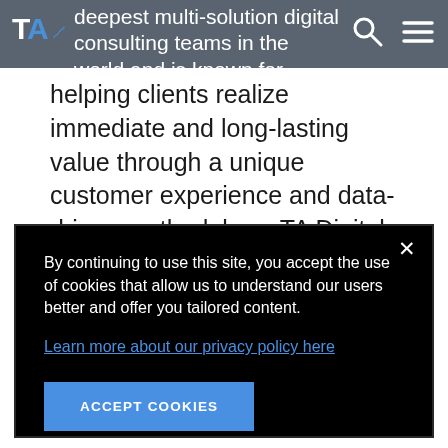TA Digital navigation bar with logo, search icon, and menu icon
deepest multi-solution digital consulting teams in the world and is known for helping clients realize immediate and long-lasting value through a unique customer experience and data-driven methodology. TA Digital specializes in digital...
By continuing to use this site, you accept the use of cookies that allow us to understand our users better and offer you tailored content.
Learn more about our privacy policy here
ACCEPT COOKIES